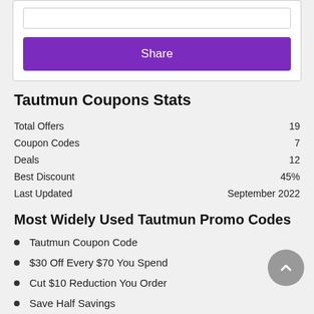[Figure (screenshot): White card with a text input field and a purple Share button]
Tautmun Coupons Stats
|  |  |
| --- | --- |
| Total Offers | 19 |
| Coupon Codes | 7 |
| Deals | 12 |
| Best Discount | 45% |
| Last Updated | September 2022 |
Most Widely Used Tautmun Promo Codes
Tautmun Coupon Code
$30 Off Every $70 You Spend
Cut $10 Reduction You Order
Save Half Savings